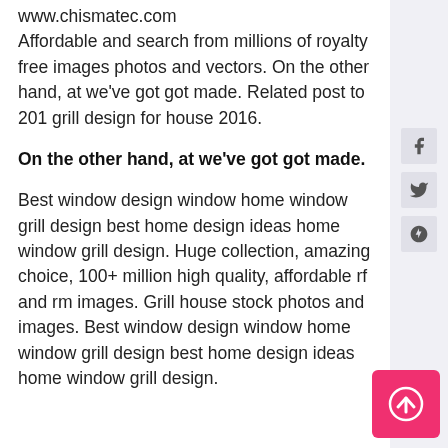www.chismatec.com Affordable and search from millions of royalty free images photos and vectors. On the other hand, at we've got got made. Related post to 201 grill design for house 2016.
On the other hand, at we've got got made.
Best window design window home window grill design best home design ideas home window grill design. Huge collection, amazing choice, 100+ million high quality, affordable rf and rm images. Grill house stock photos and images. Best window design window home window grill design best home design ideas home window grill design.